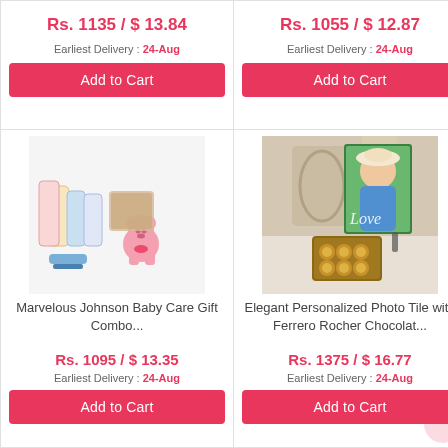Rs. 1135 / $ 13.84
Earliest Delivery : 24-Aug
Add to Cart
Rs. 1055 / $ 12.87
Earliest Delivery : 24-Aug
Add to Cart
[Figure (photo): Marvelous Johnson Baby Care Gift Combo including Johnson baby products, pink teddy bear, and blue brush]
Marvelous Johnson Baby Care Gift Combo...
Rs. 1095 / $ 13.35
Earliest Delivery : 24-Aug
Add to Cart
[Figure (photo): Elegant Personalized Photo Tile with Ferrero Rocher Chocolates - photo tile showing child in hat with Love text, and box of Ferrero Rocher chocolates]
Elegant Personalized Photo Tile with Ferrero Rocher Chocolat...
Rs. 1375 / $ 16.77
Earliest Delivery : 24-Aug
Add to Cart